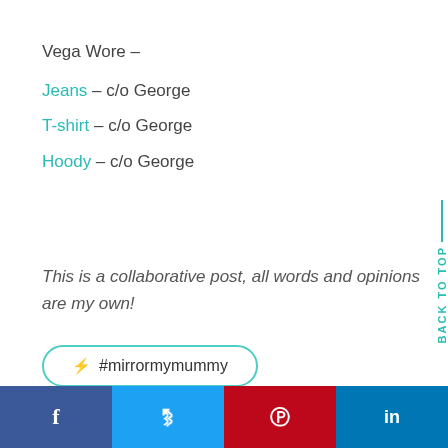Vega Wore –
Jeans – c/o George
T-shirt – c/o George
Hoody – c/o George
This is a collaborative post, all words and opinions are my own!
#mirrormymummy